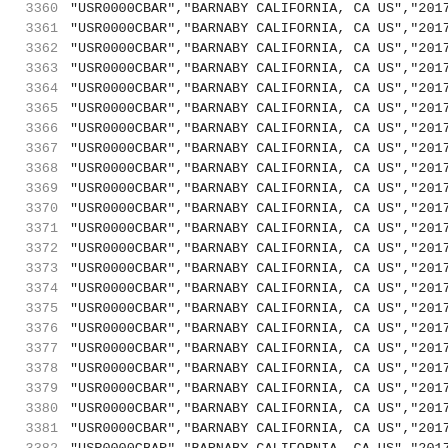3360  "USR0000CBAR","BARNABY CALIFORNIA, CA US","2017-
3361  "USR0000CBAR","BARNABY CALIFORNIA, CA US","2017-
3362  "USR0000CBAR","BARNABY CALIFORNIA, CA US","2017-
3363  "USR0000CBAR","BARNABY CALIFORNIA, CA US","2017-
3364  "USR0000CBAR","BARNABY CALIFORNIA, CA US","2017-
3365  "USR0000CBAR","BARNABY CALIFORNIA, CA US","2017-
3366  "USR0000CBAR","BARNABY CALIFORNIA, CA US","2017-
3367  "USR0000CBAR","BARNABY CALIFORNIA, CA US","2017-
3368  "USR0000CBAR","BARNABY CALIFORNIA, CA US","2017-
3369  "USR0000CBAR","BARNABY CALIFORNIA, CA US","2017-
3370  "USR0000CBAR","BARNABY CALIFORNIA, CA US","2017-
3371  "USR0000CBAR","BARNABY CALIFORNIA, CA US","2017-
3372  "USR0000CBAR","BARNABY CALIFORNIA, CA US","2017-
3373  "USR0000CBAR","BARNABY CALIFORNIA, CA US","2017-
3374  "USR0000CBAR","BARNABY CALIFORNIA, CA US","2017-
3375  "USR0000CBAR","BARNABY CALIFORNIA, CA US","2017-
3376  "USR0000CBAR","BARNABY CALIFORNIA, CA US","2017-
3377  "USR0000CBAR","BARNABY CALIFORNIA, CA US","2017-
3378  "USR0000CBAR","BARNABY CALIFORNIA, CA US","2017-
3379  "USR0000CBAR","BARNABY CALIFORNIA, CA US","2017-
3380  "USR0000CBAR","BARNABY CALIFORNIA, CA US","2017-
3381  "USR0000CBAR","BARNABY CALIFORNIA, CA US","2017-
3382  "USR0000CBAR","BARNABY CALIFORNIA, CA US","2017-